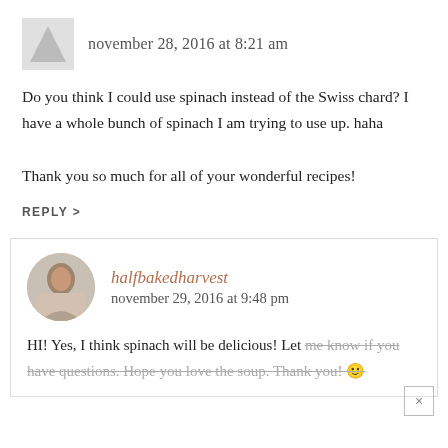november 28, 2016 at 8:21 am
Do you think I could use spinach instead of the Swiss chard? I have a whole bunch of spinach I am trying to use up. haha
Thank you so much for all of your wonderful recipes!
REPLY >
halfbakedharvest
november 29, 2016 at 9:48 pm
HI! Yes, I think spinach will be delicious! Let me know if you have questions. Hope you love the soup. Thank you! 🙂